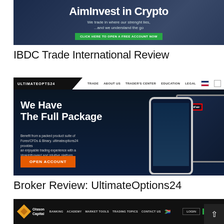[Figure (screenshot): AimInvest in Crypto banner with dark blue background, tagline 'We trade in where our strenght lies, ...and we understand the go', and a green 'CLICK HERE TO OPEN A FREE ACCOUNT NOW' button]
IBDC Trade International Review
[Figure (screenshot): UltimateOptions24 broker website screenshot showing 'We Have The Full Package' headline, navigation bar with TRADE, ABOUT US, TRADER'S CENTER, EDUCATION, LEGAL links, description text about Forex/CFDs & Binary, OPEN ACCOUNT orange button, and phone/tablet mockups]
Broker Review: UltimateOptions24
[Figure (screenshot): Olsson Capital broker website header showing logo, navigation links: BANKING, ACADEMY, MARKET TOOLS, TRADING TOPICS, CONTACT US, and LOGIN/Sign Up buttons]